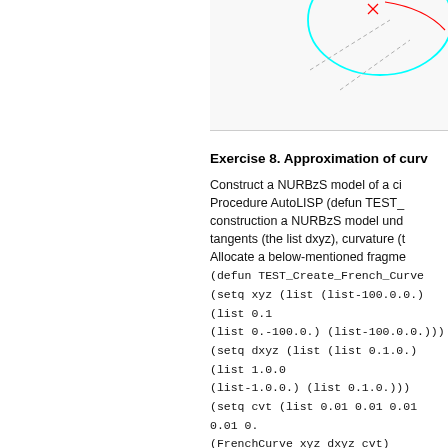[Figure (illustration): Partial view of a NURBzS curve diagram showing a cyan/teal oval curve with red control points and dashed lines, cropped at top of page]
Exercise 8. Approximation of curv…
Construct a NURBzS model of a ci… Procedure AutoLISP (defun TEST_… construction a NURBzS model und… tangents (the list dxyz), curvature (t… Allocate a below-mentioned fragme… (defun TEST_Create_French_Curve… (setq xyz (list (list-100.0.0.) (list 0.1… (list 0.-100.0.) (list-100.0.0.))) (setq dxyz (list (list 0.1.0.) (list 1.0.0… (list-1.0.0.) (list 0.1.0.))) (setq cvt (list 0.01 0.01 0.01 0.01 0.… (FrenchCurve xyz dxyz cvt) ) (TEST_Create_French_Curve) _zoom _all ;;; Print the correct …